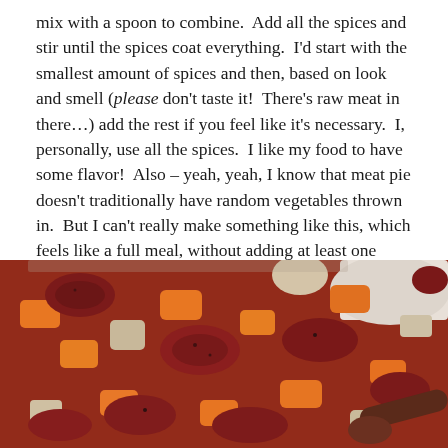mix with a spoon to combine.  Add all the spices and stir until the spices coat everything.  I'd start with the smallest amount of spices and then, based on look and smell (please don't taste it!  There's raw meat in there…) add the rest if you feel like it's necessary.  I, personally, use all the spices.  I like my food to have some flavor!  Also – yeah, yeah, I know that meat pie doesn't traditionally have random vegetables thrown in.  But I can't really make something like this, which feels like a full meal, without adding at least one vegetable to it.  So it'll be fine.
[Figure (photo): A close-up photo of raw diced meat mixed with chopped carrots, potatoes, and onions in a bowl, with a spoon partially visible at the bottom right.]